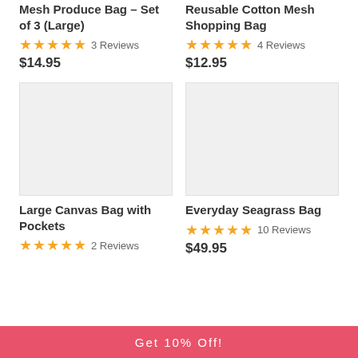Mesh Produce Bag – Set of 3 (Large)
★★★★★ 3 Reviews
$14.95
Reusable Cotton Mesh Shopping Bag
★★★★★ 4 Reviews
$12.95
[Figure (photo): Product image placeholder for Large Canvas Bag with Pockets]
[Figure (photo): Product image placeholder for Everyday Seagrass Bag]
Large Canvas Bag with Pockets
★★★★★ 2 Reviews
Everyday Seagrass Bag
★★★★★ 10 Reviews
$49.95
Get 10% Off!